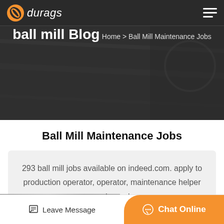durags
ball mill Blog
Home > Ball Mill Maintenance Jobs
Ball Mill Maintenance Jobs
293 ball mill jobs available on indeed.com. apply to production operator, operator, maintenance helper and more!
Leave Message | Chat Online